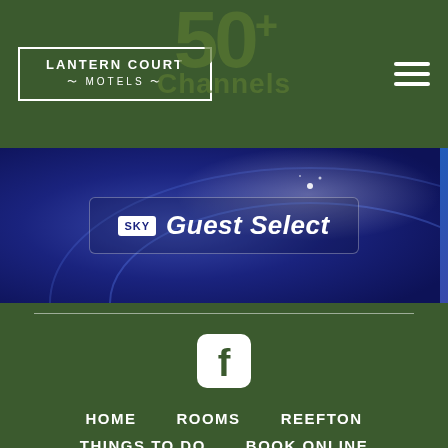[Figure (logo): Lantern Court Motels logo in white text inside a white-bordered box on dark green background, with hamburger menu icon on the right and large faded '50+ Channels' text in the background]
[Figure (screenshot): SKY Guest Select banner with white SKY logo box and italic Guest Select text on a dark blue gradient background]
[Figure (logo): Facebook icon (white rounded square with f logo) on dark green background]
HOME
ROOMS
REEFTON
THINGS TO DO
BOOK ONLINE
REVIEWS
CONTACT US
© 2022 Lantern Court Motel | Website by Orange